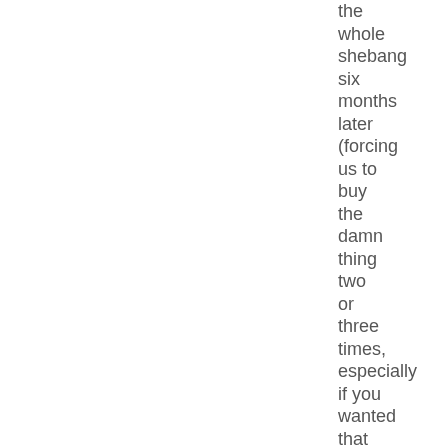the whole shebang six months later (forcing us to buy the damn thing two or three times, especially if you wanted that beautiful 10" vinyl edition), Lost